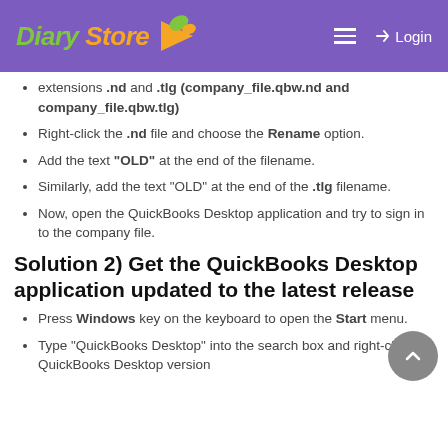Diary Store — Login
extensions .nd and .tlg (company_file.qbw.nd and company_file.qbw.tlg)
Right-click the .nd file and choose the Rename option.
Add the text "OLD" at the end of the filename.
Similarly, add the text "OLD" at the end of the .tlg filename.
Now, open the QuickBooks Desktop application and try to sign in to the company file.
Solution 2) Get the QuickBooks Desktop application updated to the latest release
Press Windows key on the keyboard to open the Start menu.
Type "QuickBooks Desktop" into the search box and right-click the QuickBooks Desktop version